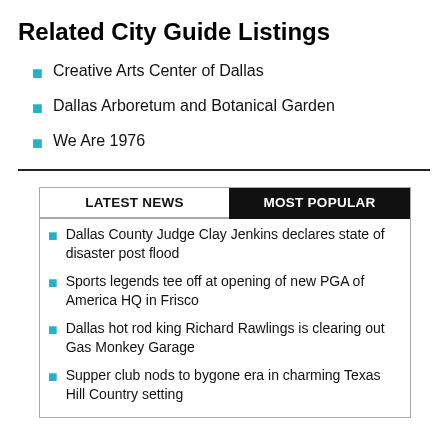Related City Guide Listings
Creative Arts Center of Dallas
Dallas Arboretum and Botanical Garden
We Are 1976
LATEST NEWS | MOST POPULAR
Dallas County Judge Clay Jenkins declares state of disaster post flood
Sports legends tee off at opening of new PGA of America HQ in Frisco
Dallas hot rod king Richard Rawlings is clearing out Gas Monkey Garage
Supper club nods to bygone era in charming Texas Hill Country setting